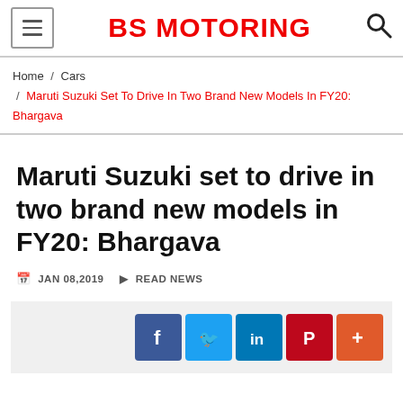BS MOTORING
Home / Cars / Maruti Suzuki Set To Drive In Two Brand New Models In FY20: Bhargava
Maruti Suzuki set to drive in two brand new models in FY20: Bhargava
JAN 08,2019  READ NEWS
[Figure (infographic): Social share buttons: Facebook, Twitter, LinkedIn, Pinterest, More]